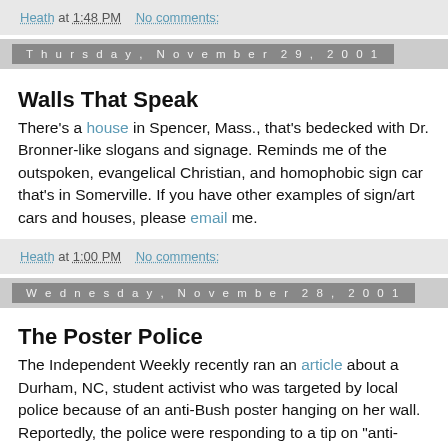Heath at 1:48 PM   No comments:
Thursday, November 29, 2001
Walls That Speak
There's a house in Spencer, Mass., that's bedecked with Dr. Bronner-like slogans and signage. Reminds me of the outspoken, evangelical Christian, and homophobic sign car that's in Somerville. If you have other examples of sign/art cars and houses, please email me.
Heath at 1:00 PM   No comments:
Wednesday, November 28, 2001
The Poster Police
The Independent Weekly recently ran an article about a Durham, NC, student activist who was targeted by local police because of an anti-Bush poster hanging on her wall. Reportedly, the police were responding to a tip on "anti-